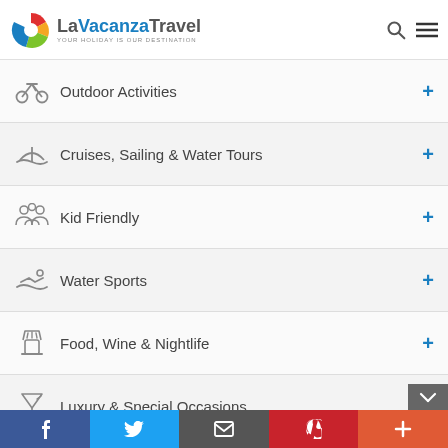LaVacanzaTravel — YOUR HOLIDAY IS OUR DESTINATION
Outdoor Activities
Cruises, Sailing & Water Tours
Kid Friendly
Water Sports
Food, Wine & Nightlife
Luxury & Special Occasions
Shows, Concerts & Sports
Facebook | Twitter | Email | Pinterest | More